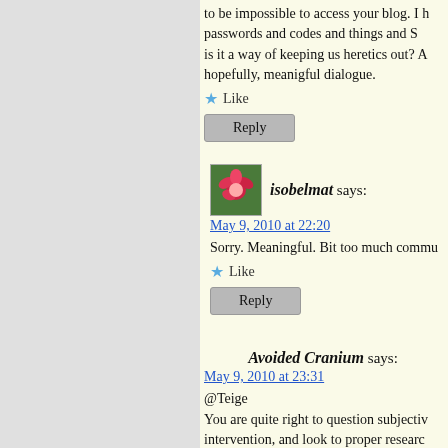to be impossible to access your blog. I h passwords and codes and things and S is it a way of keeping us heretics out? A hopefully, meanigful dialogue.
Like
Reply
isobelmat says:
May 9, 2010 at 22:20
Sorry. Meaningful. Bit too much commu
Like
Reply
Avoided Cranium says:
May 9, 2010 at 23:31
@Teige
You are quite right to question subjectiv intervention, and look to proper researc bias or even self-delusion.
However, taking notes of outcomes in a much. Audit is about modifying existing applies in areas where there is already results, but identifies changes in the pro